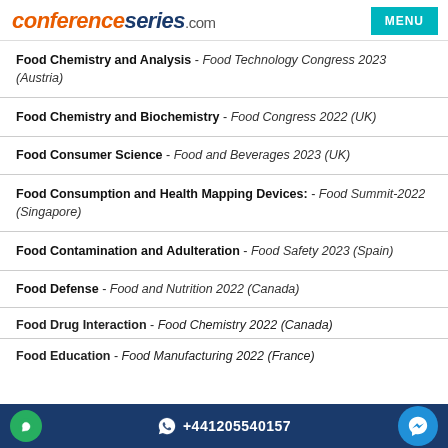conferenceseries.com MENU
Food Chemistry and Analysis - Food Technology Congress 2023 (Austria)
Food Chemistry and Biochemistry - Food Congress 2022 (UK)
Food Consumer Science - Food and Beverages 2023 (UK)
Food Consumption and Health Mapping Devices: - Food Summit-2022 (Singapore)
Food Contamination and Adulteration - Food Safety 2023 (Spain)
Food Defense - Food and Nutrition 2022 (Canada)
Food Drug Interaction - Food Chemistry 2022 (Canada)
Food Education - Food Manufacturing 2022 (France)
+441205540157